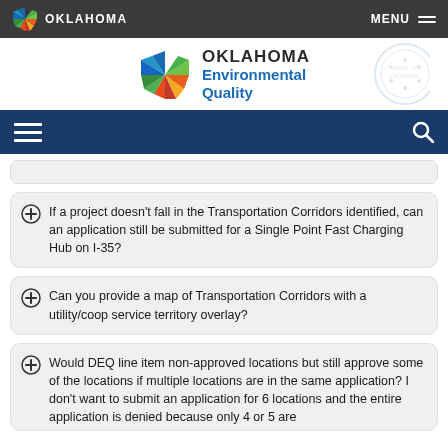OKLAHOMA | MENU
[Figure (logo): Oklahoma Environmental Quality agency logo with colorful star/pinwheel emblem]
If a project doesn't fall in the Transportation Corridors identified, can an application still be submitted for a Single Point Fast Charging Hub on I-35?
Can you provide a map of Transportation Corridors with a utility/coop service territory overlay?
Would DEQ line item non-approved locations but still approve some of the locations if multiple locations are in the same application? I don't want to submit an application for 6 locations and the entire application is denied because only 4 or 5 are